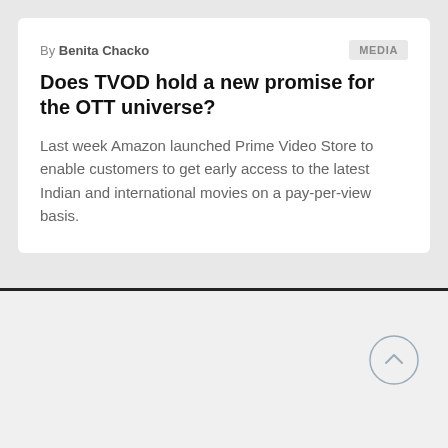By Benita Chacko
Does TVOD hold a new promise for the OTT universe?
Last week Amazon launched Prime Video Store to enable customers to get early access to the latest Indian and international movies on a pay-per-view basis.